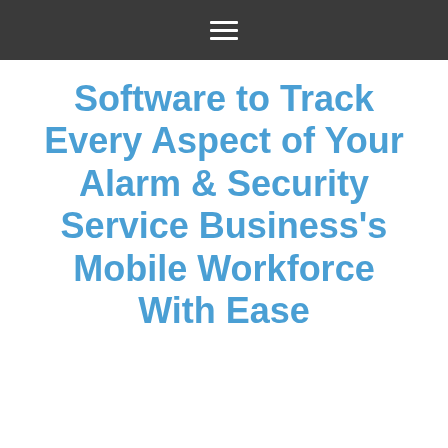≡
Software to Track Every Aspect of Your Alarm & Security Service Business's Mobile Workforce With Ease